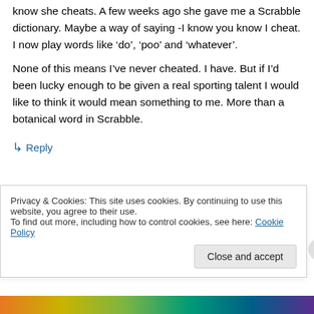know she cheats. A few weeks ago she gave me a Scrabble dictionary. Maybe a way of saying -I know you know I cheat. I now play words like ‘do’, ‘poo’ and ‘whatever’.
None of this means I’ve never cheated. I have. But if I’d been lucky enough to be given a real sporting talent I would like to think it would mean something to me. More than a botanical word in Scrabble.
↳ Reply
Privacy & Cookies: This site uses cookies. By continuing to use this website, you agree to their use.
To find out more, including how to control cookies, see here: Cookie Policy